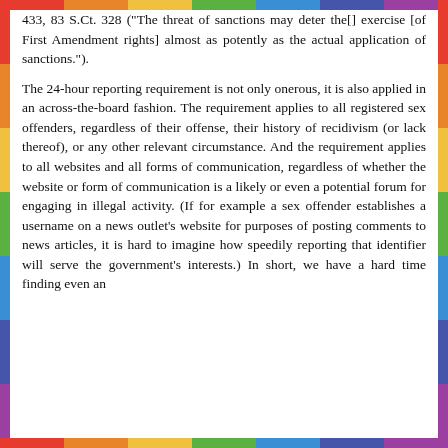433, 83 S.Ct. 328 ("The threat of sanctions may deter the[] exercise [of First Amendment rights] almost as potently as the actual application of sanctions.").
The 24-hour reporting requirement is not only onerous, it is also applied in an across-the-board fashion. The requirement applies to all registered sex offenders, regardless of their offense, their history of recidivism (or lack thereof), or any other relevant circumstance. And the requirement applies to all websites and all forms of communication, regardless of whether the website or form of communication is a likely or even a potential forum for engaging in illegal activity. (If for example a sex offender establishes a username on a news outlet's website for purposes of posting comments to news articles, it is hard to imagine how speedily reporting that identifier will serve the government's interests.) In short, we have a hard time finding even an